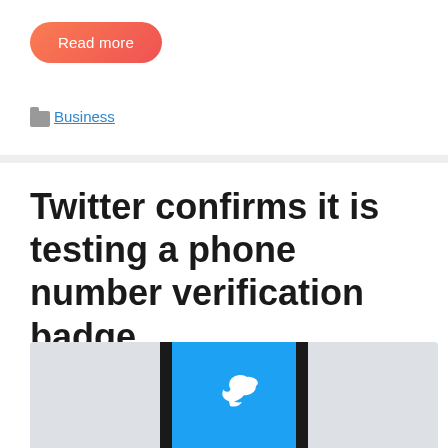Read more
Business
Twitter confirms it is testing a phone number verification badge
[Figure (photo): A smartphone with a blue screen displaying the Twitter bird logo, photographed from above on a light gray background.]